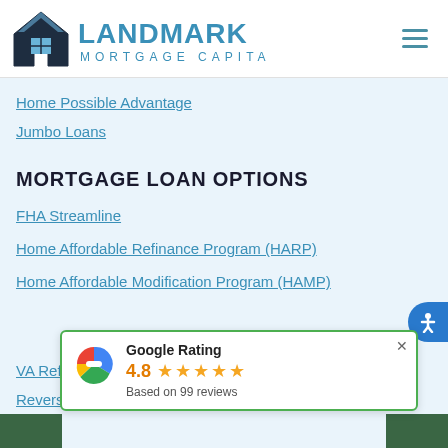[Figure (logo): Landmark Mortgage Capital logo with house icon and blue text]
Home Possible Advantage
Jumbo Loans
MORTGAGE LOAN OPTIONS
FHA Streamline
Home Affordable Refinance Program (HARP)
Home Affordable Modification Program (HAMP)
[Figure (infographic): Google Rating popup showing 4.8 stars based on 99 reviews]
VA Refinance Non-Streamline
Reverse Mortgages (Overview)